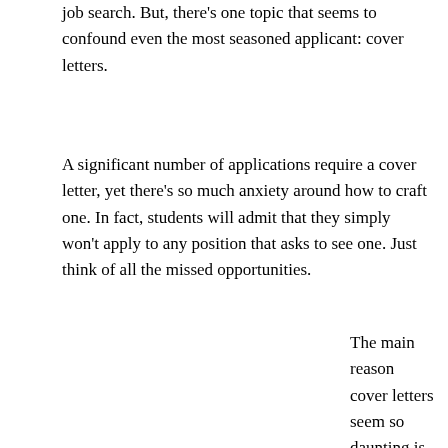job search. But, there's one topic that seems to confound even the most seasoned applicant: cover letters.
A significant number of applications require a cover letter, yet there's so much anxiety around how to craft one. In fact, students will admit that they simply won't apply to any position that asks to see one. Just think of all the missed opportunities.
The main reason cover letters seem so daunting is because